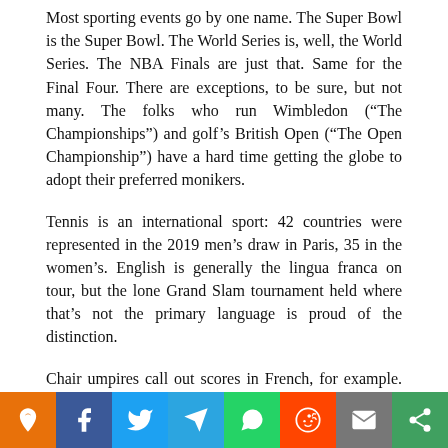Most sporting events go by one name. The Super Bowl is the Super Bowl. The World Series is, well, the World Series. The NBA Finals are just that. Same for the Final Four. There are exceptions, to be sure, but not many. The folks who run Wimbledon (“The Championships”) and golf’s British Open (“The Open Championship”) have a hard time getting the globe to adopt their preferred monikers.
Tennis is an international sport: 42 countries were represented in the 2019 men’s draw in Paris, 35 in the women’s. English is generally the lingua franca on tour, but the lone Grand Slam tournament held where that’s not the primary language is proud of the distinction.
Chair umpires call out scores in French, for example. “Deuce” at the other majors becomes “Égalité” in Paris. The… and